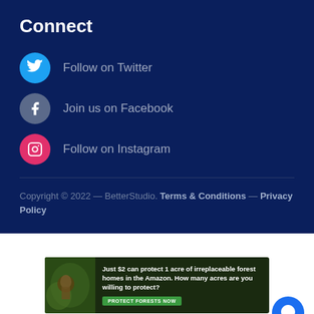Connect
Follow on Twitter
Join us on Facebook
Follow on Instagram
Copyright © 2022 — BetterStudio. Terms & Conditions — Privacy Policy
[Figure (infographic): Amazon forest protection advertisement banner: Just $2 can protect 1 acre of irreplaceable forest homes in the Amazon. How many acres are you willing to protect? PROTECT FORESTS NOW]
[Figure (illustration): Blue circular chat/message button icon in bottom-right corner]